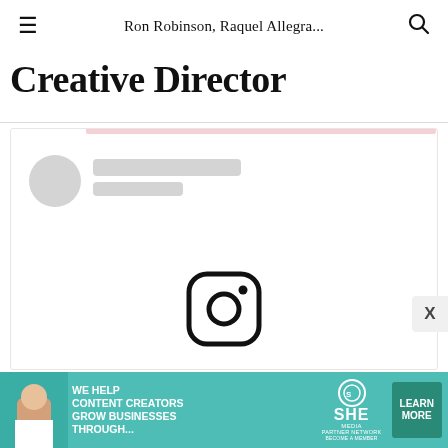Ron Robinson, Raquel Allegra...
Creative Director
[Figure (screenshot): A loading skeleton card with a circular avatar placeholder and two gray skeleton lines, with an Instagram icon below, representing a social media embed placeholder]
[Figure (infographic): Advertisement banner: teal background with SHE MEDIA PARTNER NETWORK branding. Text reads WE HELP CONTENT CREATORS GROW BUSINESSES THROUGH... with a LEARN MORE button.]